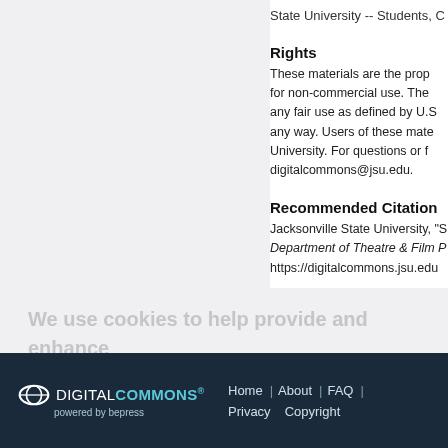State University -- Students, C
Rights
These materials are the prop for non-commercial use. The any fair use as defined by U.S any way. Users of these mate University. For questions or f digitalcommons@jsu.edu.
Recommended Citation
Jacksonville State University, "S Department of Theatre & Film P https://digitalcommons.jsu.edu
We use cookies to help provide and enhance our service and tailor content. By closing this message, you agree to the use of cookies.
DIGITAL COMMONS powered by bepress | Home | About | FAQ | Privacy | Copyright